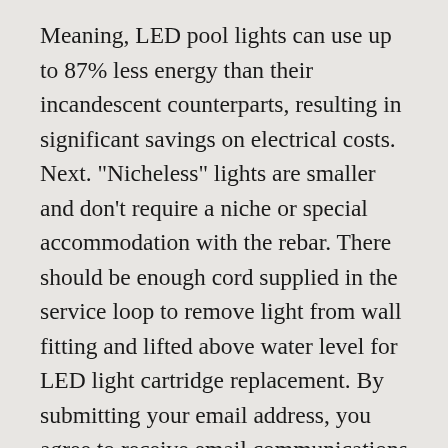Meaning, LED pool lights can use up to 87% less energy than their incandescent counterparts, resulting in significant savings on electrical costs. Next. "Nicheless" lights are smaller and don't require a niche or special accommodation with the rebar. There should be enough cord supplied in the service loop to remove light from wall fitting and lifted above water level for LED light cartridge replacement. By submitting your email address, you agree to receive email communications and other great offers from Zodiac Pool Systems LLC. Choose Options. attained — making it an aesthetic decision. Jandy. Alternately, you can use multiple nicheless There should be enough